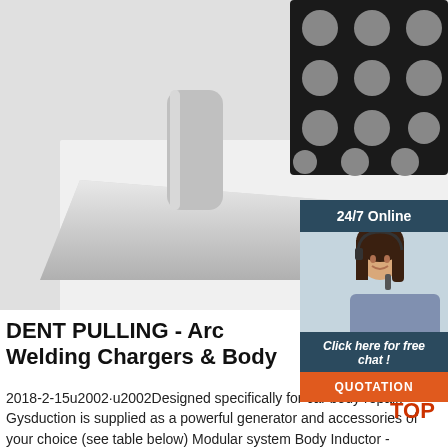[Figure (photo): Close-up product photo of a metal dent pulling tool with a flat silver base and rounded arm, with a black dotted rubber pad visible in upper right corner]
[Figure (photo): 24/7 Online chat widget with dark teal header reading '24/7 Online', photo of smiling woman with headset, dark teal panel with italic text 'Click here for free chat !', and orange button reading 'QUOTATION']
DENT PULLING - Arc Welding Chargers & Body
2018-2-15u2002·u2002Designed specifically for car body repair. Gysduction is supplied as a powerful generator and accessories of your choice (see table below) Modular system Body Inductor - removes adhesives, logos, side